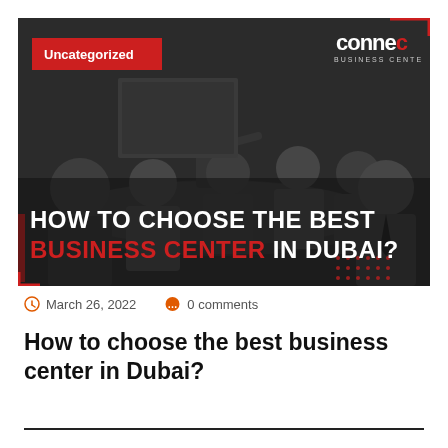[Figure (photo): Dark-toned photo of business meeting with people around a conference table. One person standing and presenting. Red category tag 'Uncategorized' in top left. Logo 'connec BUSINESS CENTER' in top right. Overlay text: 'HOW TO CHOOSE THE BEST BUSINESS CENTER IN DUBAI?' with red and white text.]
March 26, 2022  0 comments
How to choose the best business center in Dubai?